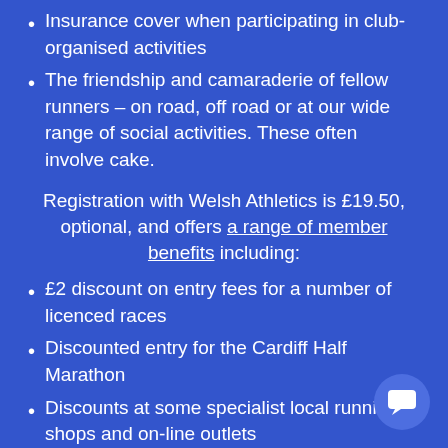Insurance cover when participating in club-organised activities
The friendship and camaraderie of fellow runners – on road, off road or at our wide range of social activities. These often involve cake.
Registration with Welsh Athletics is £19.50, optional, and offers a range of member benefits including:
£2 discount on entry fees for a number of licenced races
Discounted entry for the Cardiff Half Marathon
Discounts at some specialist local running shops and on-line outlets
Other discounts on items such as training programmes and UK Athletics events